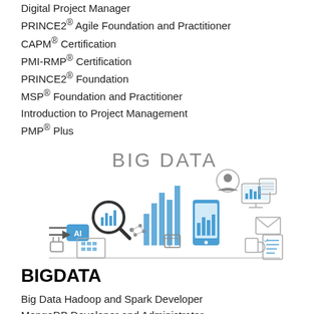Digital Project Manager
PRINCE2® Agile Foundation and Practitioner
CAPM® Certification
PMI-RMP® Certification
PRINCE2® Foundation
MSP® Foundation and Practitioner
Introduction to Project Management
PMP® Plus
[Figure (illustration): Big Data infographic illustration with text 'BIG DATA' at top, showing icons of charts, AI, mobile phone, email, calendar, data nodes, and various technology symbols in blue and grey tones.]
BIGDATA
Big Data Hadoop and Spark Developer
MongoDB Developer and Administrator